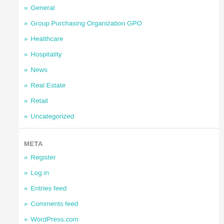» General
» Group Purchasing Organization GPO
» Healthcare
» Hospitality
» News
» Real Estate
» Retail
» Uncategorized
META
» Register
» Log in
» Entries feed
» Comments feed
» WordPress.com